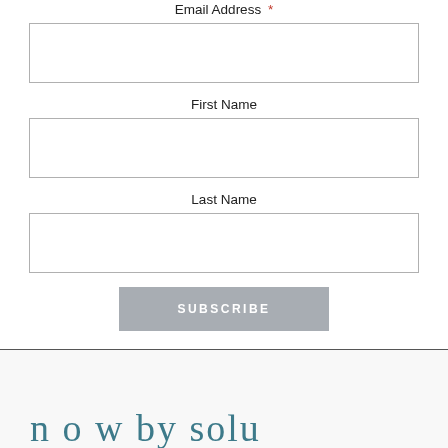Email Address *
[Figure (other): Empty text input field for Email Address]
First Name
[Figure (other): Empty text input field for First Name]
Last Name
[Figure (other): Empty text input field for Last Name]
[Figure (other): Subscribe button with gray background and white uppercase text]
n o w  by solu